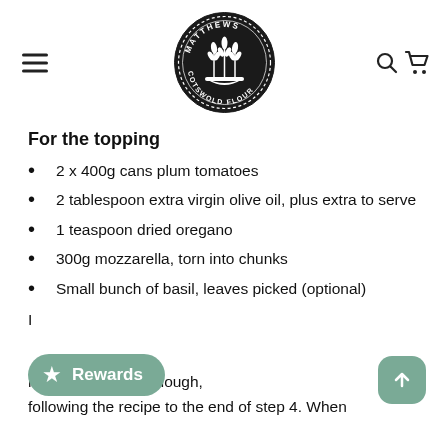[Figure (logo): Matthews Cotswold Flour circular badge logo with wheat illustration in black]
For the topping
2 x 400g cans plum tomatoes
2 tablespoon extra virgin olive oil, plus extra to serve
1 teaspoon dried oregano
300g mozzarella, torn into chunks
Small bunch of basil, leaves picked (optional)
I...
...n of our white sourdough,
following the recipe to the end of step 4. When